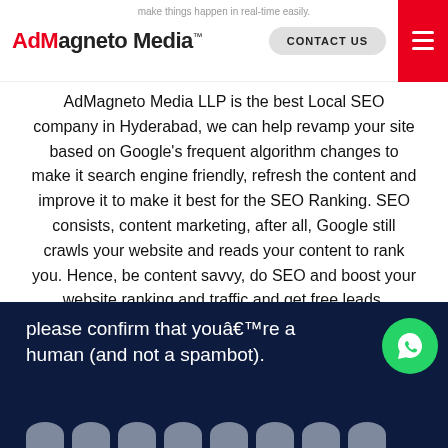AdMagneto Media™ — make things happen in real-time easily. CONTACT US
AdMagneto Media LLP is the best Local SEO company in Hyderabad, we can help revamp your site based on Google's frequent algorithm changes to make it search engine friendly, refresh the content and improve it to make it best for the SEO Ranking. SEO consists, content marketing, after all, Google still crawls your website and reads your content to rank you. Hence, be content savvy, do SEO and boost your website ranking and traffic and get free leads.
please confirm that youâ€™re a human (and not a spambot).
[Figure (screenshot): reCAPTCHA widget showing checkbox 'I'm not a robot' with reCAPTCHA logo, Privacy and Terms links]